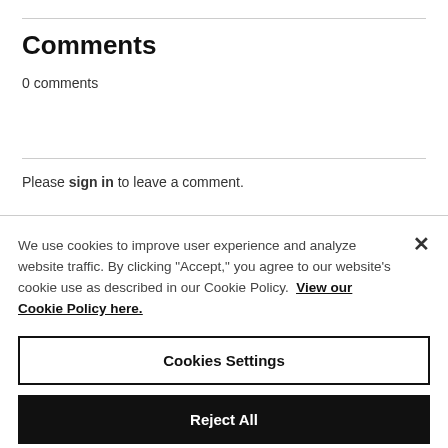Comments
0 comments
Please sign in to leave a comment.
We use cookies to improve user experience and analyze website traffic. By clicking "Accept," you agree to our website's cookie use as described in our Cookie Policy. View our Cookie Policy here.
Cookies Settings
Reject All
Accept All Cookies